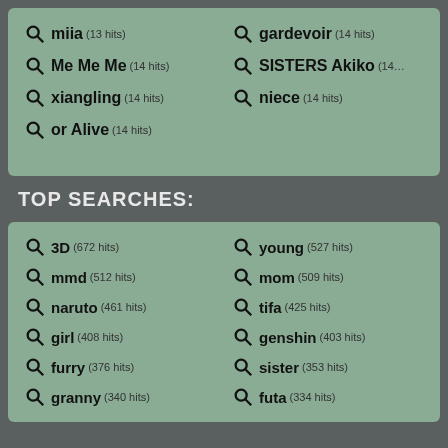miia (13 hits)
gardevoir (14 hits)
Me Me Me (14 hits)
SISTERS Akiko (14...
xiangling (14 hits)
niece (14 hits)
or Alive (14 hits)
TOP SEARCHES:
3D (672 hits)
young (527 hits)
mmd (512 hits)
mom (509 hits)
naruto (461 hits)
tifa (425 hits)
girl (408 hits)
genshin (403 hits)
furry (376 hits)
sister (353 hits)
granny (340 hits)
futa (334 hits)